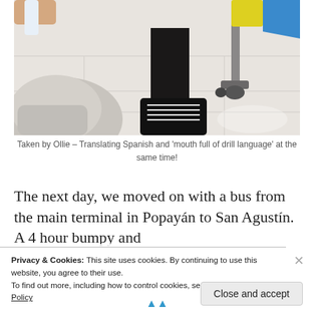[Figure (photo): Photo taken at a dental clinic or similar setting, showing a person's legs and sneakers, a dental/medical device on the left, a chair with wheels, and colorful items in the upper right corner. Tile floor visible.]
Taken by Ollie – Translating Spanish and 'mouth full of drill language' at the same time!
The next day, we moved on with a bus from the main terminal in Popayán to San Agustín. A 4 hour bumpy and
Privacy & Cookies: This site uses cookies. By continuing to use this website, you agree to their use.
To find out more, including how to control cookies, see here: Cookie Policy
Close and accept